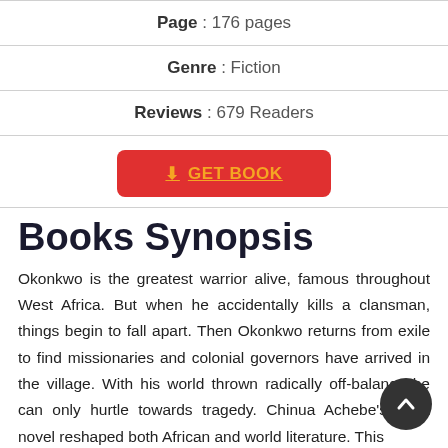Page : 176 pages
Genre : Fiction
Reviews : 679 Readers
GET BOOK
Books Synopsis
Okonkwo is the greatest warrior alive, famous throughout West Africa. But when he accidentally kills a clansman, things begin to fall apart. Then Okonkwo returns from exile to find missionaries and colonial governors have arrived in the village. With his world thrown radically off-balance he can only hurtle towards tragedy. Chinua Achebe's stark novel reshaped both African and world literature. This